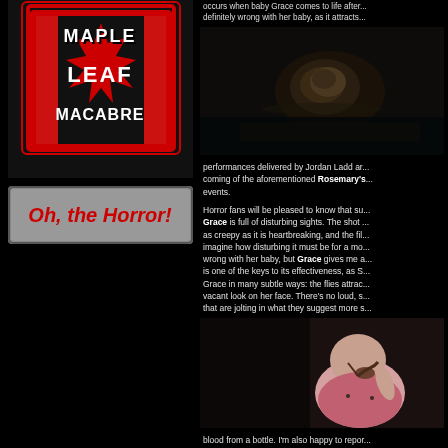[Figure (logo): Maple Leaf Macabre logo - red and black design with maple leaf and stylized text]
[Figure (illustration): Oh, the Horror! banner in red grunge text on gray background]
occurs when baby Grace comes to life after... definitely wrong with her baby, as it attracts...
[Figure (photo): Dark close-up horror movie still image]
performances delivered by Jordan Ladd ar... coming of the aforementioned Rosemary's... events.
Horror fans will be pleased to know that su... Grace is full of disturbing sights. The shot ... as creepy as it is heartbreaking, and the fil... imagine how disturbing it must be for a mo... wrong with her baby, but Grace gives me a... is one of the keys to its effectiveness, as S... Grace in many subtle ways: the flies attrac... vacant look on her face. There's no loud, s... that are jolting in what they suggest more s...
[Figure (photo): Horror movie still showing a baby in pink clothing]
blood from a bottle. I'm also happy to repor... first non-gratuitous instance of that portion...